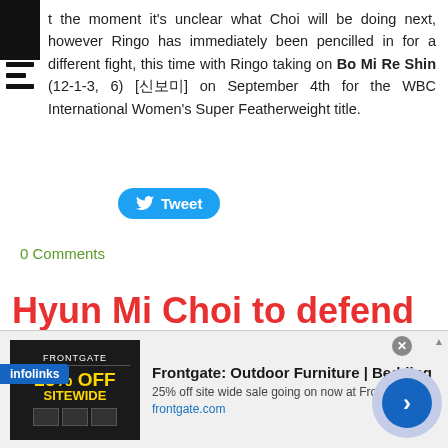At the moment it's unclear what Choi will be doing next, however Ringo has immediately been pencilled in for a different fight, this time with Ringo taking on Bo Mi Re Shin (12-1-3, 6) [신보미] on September 4th for the WBC International Women's Super Featherweight title.
[Figure (other): Tweet button - blue rounded button with Twitter bird icon and 'Tweet' text]
0 Comments
Hyun Mi Choi to defend WBA title in August
0 COMMENTS
[Figure (other): Advertisement banner: Frontgate Outdoor Furniture and Bedding, 25% off site wide sale, frontgate.com]